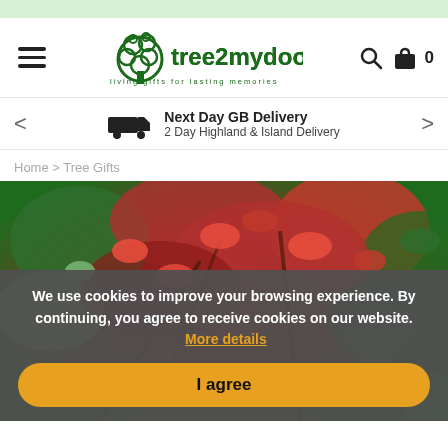[Figure (logo): Tree2mydoor.com logo — green tree silhouette with circular leaves, text 'tree2mydoor.com' and tagline 'living gifts for lasting memories']
Next Day GB Delivery
2 Day Highland & Island Delivery
Home > Tree Gifts
[Figure (photo): Hero image of autumn tree foliage with red and green leaves]
We use cookies to improve your browsing experience. By continuing, you agree to receive cookies on our website. More details
I agree